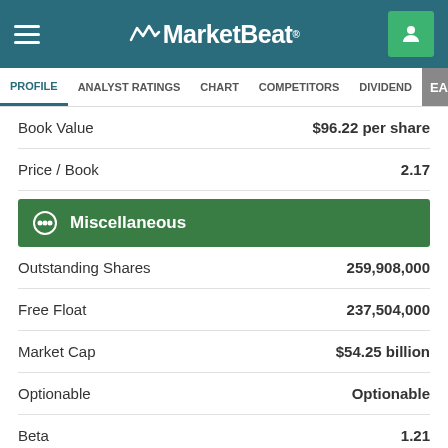MarketBeat
PROFILE | ANALYST RATINGS | CHART | COMPETITORS | DIVIDEND | EARNINGS
|  |  |
| --- | --- |
| Book Value | $96.22 per share |
| Price / Book | 2.17 |
Miscellaneous
|  |  |
| --- | --- |
| Outstanding Shares | 259,908,000 |
| Free Float | 237,504,000 |
| Market Cap | $54.25 billion |
| Optionable | Optionable |
| Beta | 1.21 |
Social Links
[Figure (illustration): Social media icons: LinkedIn, Instagram, Facebook, YouTube, Twitter]